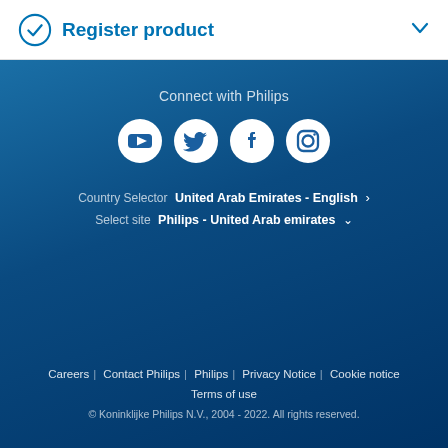Register product
Connect with Philips
[Figure (illustration): Four social media icons: YouTube, Twitter, Facebook, Instagram — white circles on blue background]
Country Selector  United Arab Emirates - English  >
Select site  Philips - United Arab emirates  v
Careers | Contact Philips | Philips | Privacy Notice | Cookie notice  Terms of use  © Koninklijke Philips N.V., 2004 - 2022. All rights reserved.